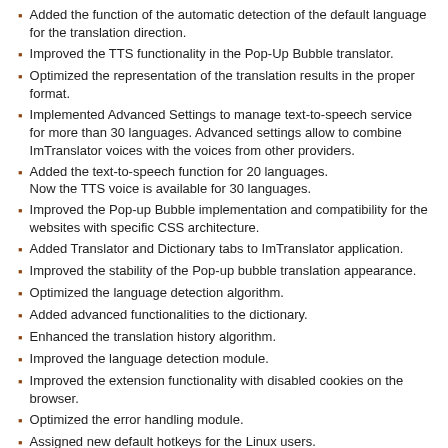Added the function of the automatic detection of the default language for the translation direction.
Improved the TTS functionality in the Pop-Up Bubble translator.
Optimized the representation of the translation results in the proper format.
Implemented Advanced Settings to manage text-to-speech service for more than 30 languages. Advanced settings allow to combine ImTranslator voices with the voices from other providers.
Added the text-to-speech function for 20 languages. Now the TTS voice is available for 30 languages.
Improved the Pop-up Bubble implementation and compatibility for the websites with specific CSS architecture.
Added Translator and Dictionary tabs to ImTranslator application.
Improved the stability of the Pop-up bubble translation appearance.
Optimized the language detection algorithm.
Added advanced functionalities to the dictionary.
Enhanced the translation history algorithm.
Improved the language detection module.
Improved the extension functionality with disabled cookies on the browser.
Optimized the error handling module.
Assigned new default hotkeys for the Linux users.
Implemented new technique of positioning the translation button and Pop-up window.
Improved the stability of the translation algorithm.
Optimized the splitting procedure in the Translation History
Added new module to manage data in the Translation History.
Updated Serbian localization.
Improved the Pop-up Bubble behavior for long scrolling sites.
Adjusted the appearance of the Pop-up Bubble button in the entry/search boxes (Google, Facebook, Amazon, eBay)
Improved the Pop-up Bubble appearance on some specific type of page.